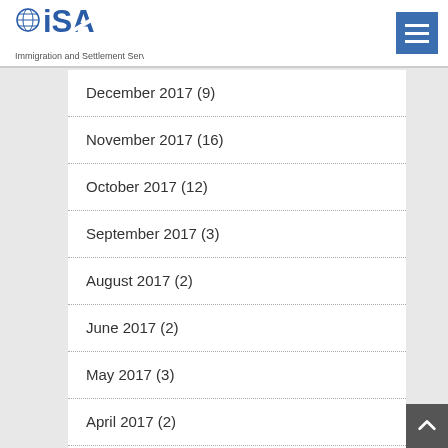ISA Immigration and Settlement Services
December 2017 (9)
November 2017 (16)
October 2017 (12)
September 2017 (3)
August 2017 (2)
June 2017 (2)
May 2017 (3)
April 2017 (2)
March 2017 (1)
February 2017 (3)